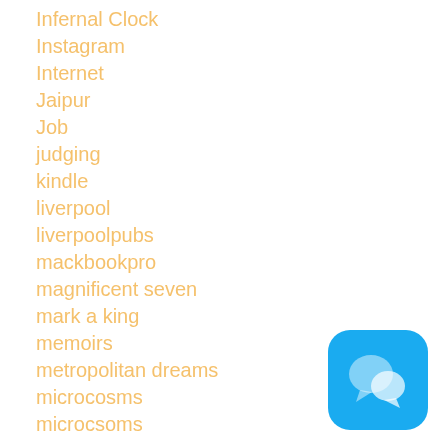Infernal Clock
Instagram
Internet
Jaipur
Job
judging
kindle
liverpool
liverpoolpubs
mackbookpro
magnificent seven
mark a king
memoirs
metropolitan dreams
microcosms
microcsoms
[Figure (logo): Blue rounded square app icon with two overlapping chat bubble shapes in lighter blue/white]